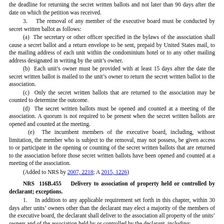the deadline for returning the secret written ballots and not later than 90 days after the date on which the petition was received.
3.    The removal of any member of the executive board must be conducted by secret written ballot as follows:
(a)  The secretary or other officer specified in the bylaws of the association shall cause a secret ballot and a return envelope to be sent, prepaid by United States mail, to the mailing address of each unit within the condominium hotel or to any other mailing address designated in writing by the unit's owner.
(b)  Each unit's owner must be provided with at least 15 days after the date the secret written ballot is mailed to the unit's owner to return the secret written ballot to the association.
(c)  Only the secret written ballots that are returned to the association may be counted to determine the outcome.
(d)  The secret written ballots must be opened and counted at a meeting of the association. A quorum is not required to be present when the secret written ballots are opened and counted at the meeting.
(e)  The incumbent members of the executive board, including, without limitation, the member who is subject to the removal, may not possess, be given access to or participate in the opening or counting of the secret written ballots that are returned to the association before those secret written ballots have been opened and counted at a meeting of the association.
(Added to NRS by 2007, 2218; A 2015, 1226)
NRS 116B.455    Delivery to association of property held or controlled by declarant; exceptions.
1.    In addition to any applicable requirement set forth in this chapter, within 30 days after units' owners other than the declarant may elect a majority of the members of the executive board, the declarant shall deliver to the association all property of the units' owners and of the association held by or controlled by the declarant, including:
(a)  The original or a certified copy of the recorded declaration as amended, the articles of incorporation, articles of association, articles of organization, certificate of registration, certificate of limited partnership, certificate of trust or other documents of organization for the association, the bylaws, minute books